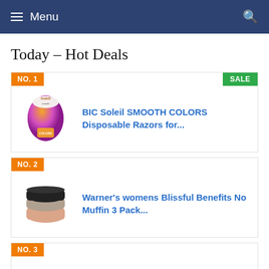Menu
Today – Hot Deals
NO. 1 SALE — BIC Soleil SMOOTH COLORS Disposable Razors for...
NO. 2 — Warner's womens Blissful Benefits No Muffin 3 Pack...
NO. 3 — Apple MacBook Air with Intel Core i5, 1.6GHz,...